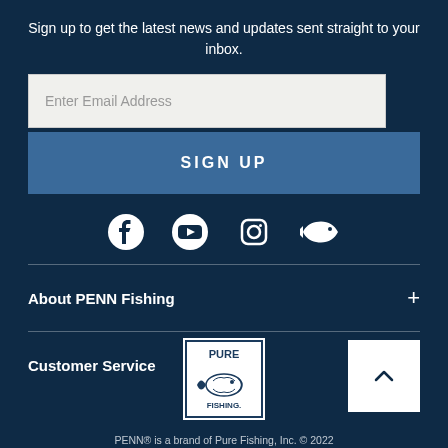Sign up to get the latest news and updates sent straight to your inbox.
[Figure (screenshot): Email input field with placeholder text 'Enter Email Address']
[Figure (screenshot): Sign Up button]
[Figure (infographic): Social media icons: Facebook, YouTube, Instagram, and a fish/fishing icon]
About PENN Fishing +
Customer Service +
[Figure (logo): Pure Fishing logo — square logo with fish illustration and 'PURE FISHING' text]
PENN® is a brand of Pure Fishing, Inc. © 2022